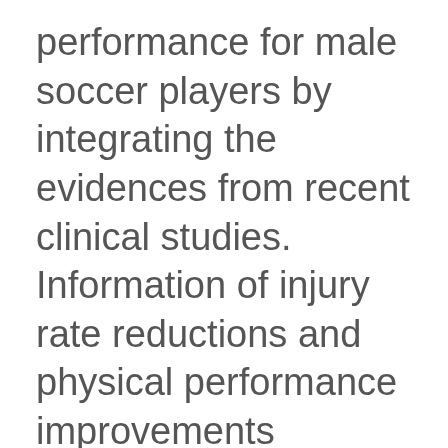performance for male soccer players by integrating the evidences from recent clinical studies. Information of injury rate reductions and physical performance improvements through FIFA 11+ injury prevention program will be included to demonstrate how much this warm-up